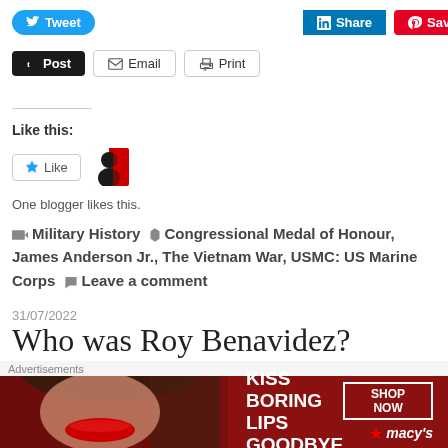[Figure (screenshot): Social sharing buttons row: Tweet (blue), Share (LinkedIn blue), Save (Pinterest red)]
[Figure (screenshot): Social sharing buttons row 2: Post (dark/Tumblr), Email, Print]
Like this:
[Figure (screenshot): Like button widget with star icon and a blogger avatar thumbnail]
One blogger likes this.
Military History  •  Congressional Medal of Honour, James Anderson Jr., The Vietnam War, USMC: US Marine Corps  •  Leave a comment
31/07/2022
Who was Roy Benavidez?
[Figure (photo): Camouflage pattern image strip (green/black camo)]
Advertisements
[Figure (screenshot): Macy's advertisement banner: KISS BORING LIPS GOODBYE with SHOP NOW button and Macy's logo]